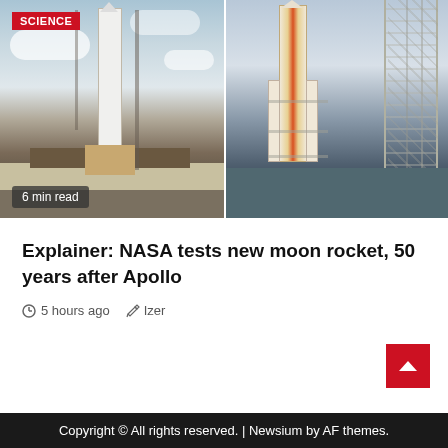[Figure (photo): Two rocket photos side by side: left shows Apollo-era Saturn V rocket on launch pad with clouds in background and '6 min read' badge; right shows NASA SLS rocket on launch structure. 'SCIENCE' red badge on top left.]
Explainer: NASA tests new moon rocket, 50 years after Apollo
5 hours ago   Izer
Copyright © All rights reserved. | Newsium by AF themes.